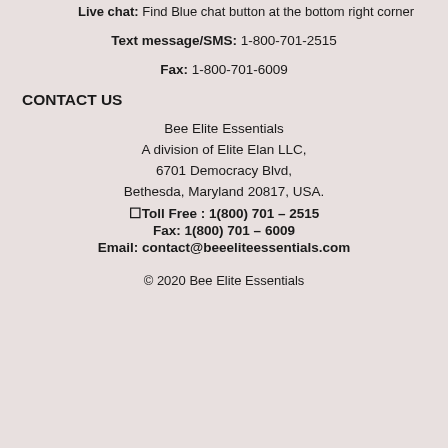Live chat: Find Blue chat button at the bottom right corner
Text message/SMS: 1-800-701-2515
Fax: 1-800-701-6009
CONTACT US
Bee Elite Essentials
A division of Elite Elan LLC,
6701 Democracy Blvd,
Bethesda, Maryland 20817, USA.
Toll Free : 1(800) 701 – 2515
Fax: 1(800) 701 – 6009
Email: contact@beeeliteessentials.com
© 2020 Bee Elite Essentials